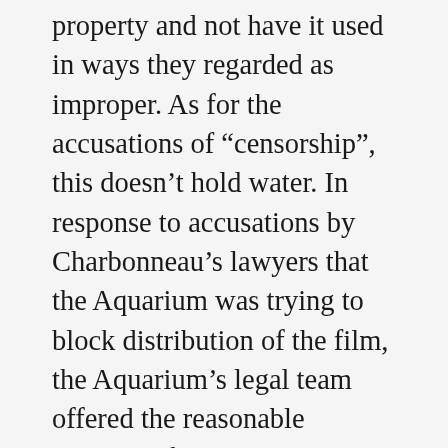property and not have it used in ways they regarded as improper. As for the accusations of “censorship”, this doesn’t hold water. In response to accusations by Charbonneau’s lawyers that the Aquarium was trying to block distribution of the film, the Aquarium’s legal team offered the reasonable solution of editing out the disputed material, which was the remedy accepted initially by the court. In the end, the Aquarium’s action may have backfired in the court of public opinion (and the initial injunction based on a claim of “irreparable harm” was not upheld) but since the case will now not be adjudicated (the Aquarium has dropped its suit) we will not know if the allegations of infringement would have